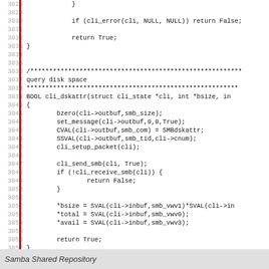Source code listing lines 3028-3057, C function cli_dskattr for Samba Shared Repository
Samba Shared Repository